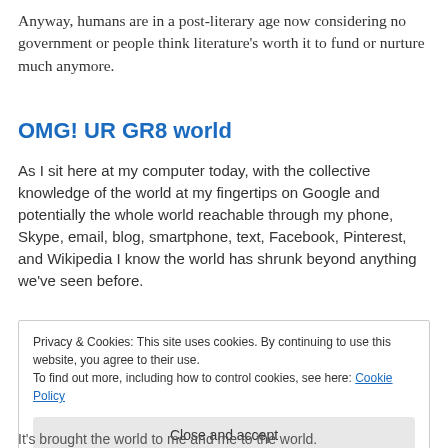Anyway, humans are in a post-literary age now considering no government or people think literature's worth it to fund or nurture much anymore.
OMG! UR GR8 world
As I sit here at my computer today, with the collective knowledge of the world at my fingertips on Google and potentially the whole world reachable through my phone, Skype, email, blog, smartphone, text, Facebook, Pinterest, and Wikipedia I know the world has shrunk beyond anything we've seen before.
Privacy & Cookies: This site uses cookies. By continuing to use this website, you agree to their use.
To find out more, including how to control cookies, see here: Cookie Policy
[Close and accept]
It's brought the world to me and me to the world.